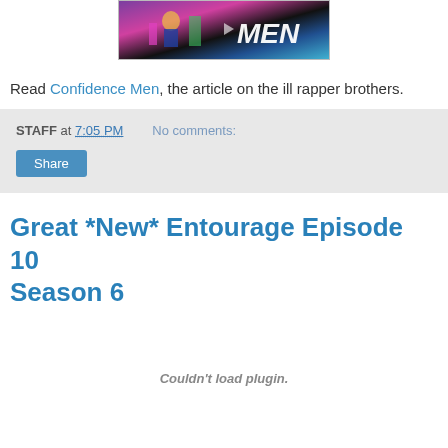[Figure (illustration): Partial image of comic-style art showing colorful characters, partially visible text 'MEN' on the right side, dark background with purple, pink, and blue colors]
Read Confidence Men, the article on the ill rapper brothers.
STAFF at 7:05 PM   No comments:
Share
Great *New* Entourage Episode 10 Season 6
Couldn't load plugin.